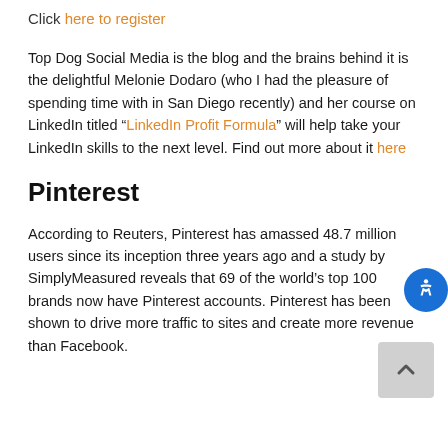Click here to register
Top Dog Social Media is the blog and the brains behind it is the delightful Melonie Dodaro (who I had the pleasure of spending time with in San Diego recently) and her course on LinkedIn titled “LinkedIn Profit Formula” will help take your LinkedIn skills to the next level. Find out more about it here
Pinterest
According to Reuters, Pinterest has amassed 48.7 million users since its inception three years ago and a study by SimplyMeasured reveals that 69 of the world’s top 100 brands now have Pinterest accounts. Pinterest has been shown to drive more traffic to sites and create more revenue than Facebook.